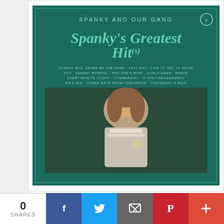[Figure (photo): Album cover for Spanky's Greatest Hits by Spanky and Our Gang, featuring a dark teal background with white/teal stylized text and a photo of a woman in period clothing holding something small]
[Amazon.com] Spankys Greatest Hits
[Figure (photo): DVD or video cover for TV Classics Our Gang, showing the text 'TV CLASSICS' at top with group photo, and 'Our Gang' in large red letters]
0 SHARES